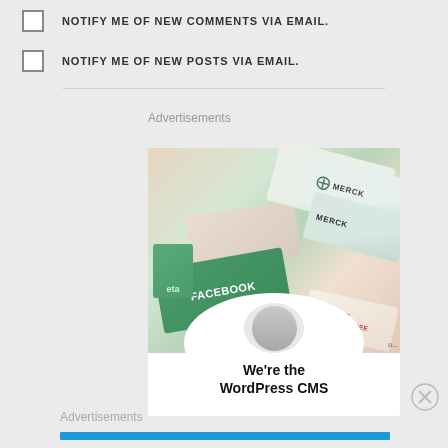NOTIFY ME OF NEW COMMENTS VIA EMAIL.
NOTIFY ME OF NEW POSTS VIA EMAIL.
Advertisements
[Figure (photo): Advertisement image showing overlapping cards including MERCK and FACEBOOK branding, with text 'We're the WordPress CMS']
Advertisements